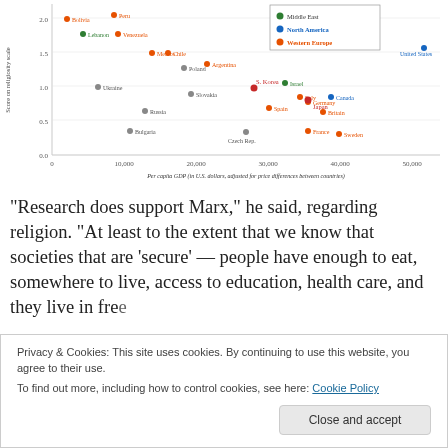[Figure (scatter-plot): Scatter plot showing negative correlation between per capita GDP and religiosity score. Countries labeled include United States, Canada, Israel, Japan, Germany, Italy, France, Britain, Sweden, Spain, S. Korea, Argentina, Chile, Poland, Slovakia, Czech Rep., Russia, Bulgaria, Ukraine, Mexico, Venezuela, Peru, Bolivia, Lebanon.]
“Research does support Marx,” he said, regarding religion. “At least to the extent that we know that societies that are ‘secure’ — people have enough to eat, somewhere to live, access to education, health care, and they live in free
Privacy & Cookies: This site uses cookies. By continuing to use this website, you agree to their use.
To find out more, including how to control cookies, see here: Cookie Policy